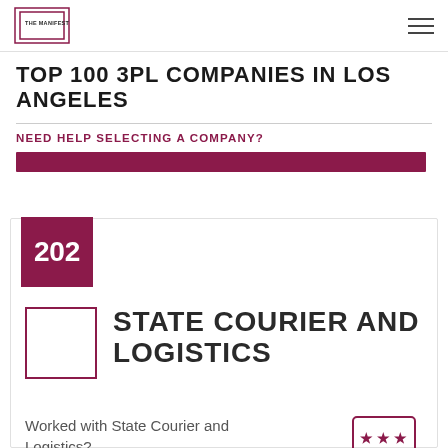THE MANIFEST
TOP 100 3PL COMPANIES IN LOS ANGELES
NEED HELP SELECTING A COMPANY?
202
STATE COURIER AND LOGISTICS
Worked with State Courier and Logistics?
LEAVE A REVIEW >